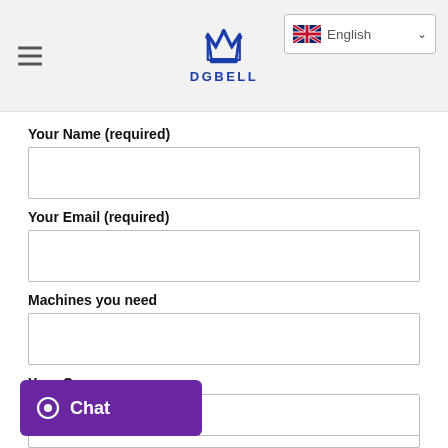DGBELL — English (language selector)
Your Name (required)
Your Email (required)
Machines you need
Your Company
Chat